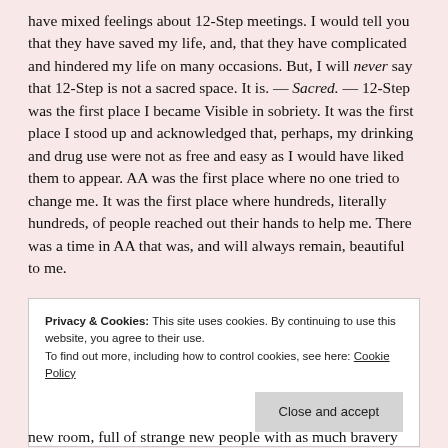have mixed feelings about 12-Step meetings. I would tell you that they have saved my life, and, that they have complicated and hindered my life on many occasions. But, I will never say that 12-Step is not a sacred space. It is. — Sacred. — 12-Step was the first place I became Visible in sobriety. It was the first place I stood up and acknowledged that, perhaps, my drinking and drug use were not as free and easy as I would have liked them to appear. AA was the first place where no one tried to change me. It was the first place where hundreds, literally hundreds, of people reached out their hands to help me. There was a time in AA that was, and will always remain, beautiful to me.
Privacy & Cookies: This site uses cookies. By continuing to use this website, you agree to their use. To find out more, including how to control cookies, see here: Cookie Policy
new room, full of strange new people with as much bravery